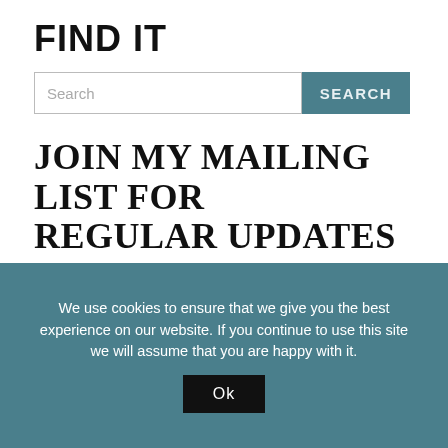FIND IT
[Figure (screenshot): Search input field with placeholder text 'Search' and a teal 'SEARCH' button]
JOIN MY MAILING LIST FOR REGULAR UPDATES
ENTER YOUR EMAIL ADDRESS:
[Figure (screenshot): Email address text input field]
[Figure (screenshot): Teal 'SIGN UP' button]
PODCASTS
We use cookies to ensure that we give you the best experience on our website. If you continue to use this site we will assume that you are happy with it.
[Figure (screenshot): Black 'Ok' button for cookie consent]